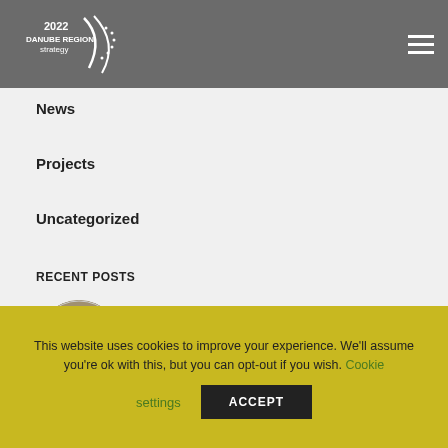2022 DANUBE REGION strategy
News
Projects
Uncategorized
RECENT POSTS
[Figure (photo): Circular thumbnail photo of a ministerial meeting room with people seated around a table]
Danube Ministerial Conclusions 2022 signed on 29 June 2022 in Lyon
9.08.2022  0  0
This website uses cookies to improve your experience. We'll assume you're ok with this, but you can opt-out if you wish. Cookie settings ACCEPT